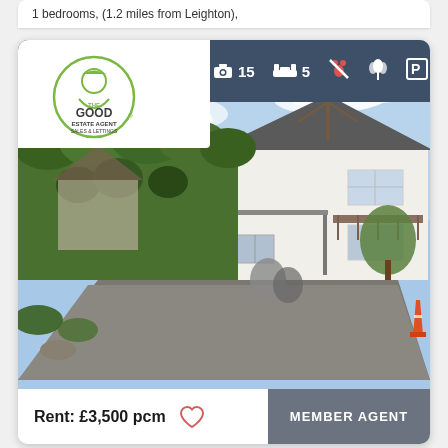1 bedrooms, (1.2 miles from Leighton),
[Figure (photo): Property listing card showing a detached house with garden hedges and driveway. The Good Estate Agent Sales & Lettings logo in top left. Banner shows 15 photos, 5 bedrooms, no pets, garden, and parking icons. Below is a photo of a white detached bungalow with large hedge, covered entrance and balcony. Bottom bar shows Rent: £3,500 pcm and MEMBER AGENT label.]
Rent: £3,500 pcm
MEMBER AGENT